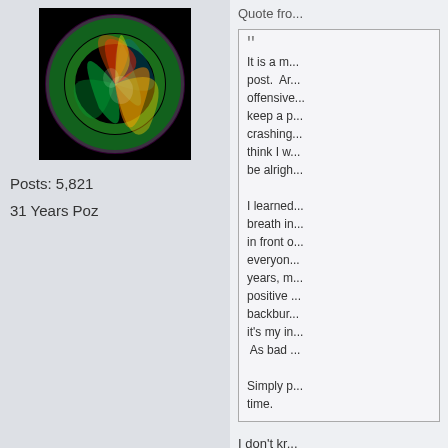[Figure (illustration): Colorful abstract fractal image resembling a yin-yang with swirling neon colors (green, orange, yellow, red, teal) on a black background]
Posts: 5,821
31 Years Poz
Quote fro...
It is a m... post.  Ar... offensive... keep a p... crashing... think I w... be alrigh...
I learned... breath in... in front o... everyon... years, m... positive ... backbur... it's my in... As bad ...
Simply p... time.
I don't kr... to say it.... to you. H... poz and ... posting h... always y...